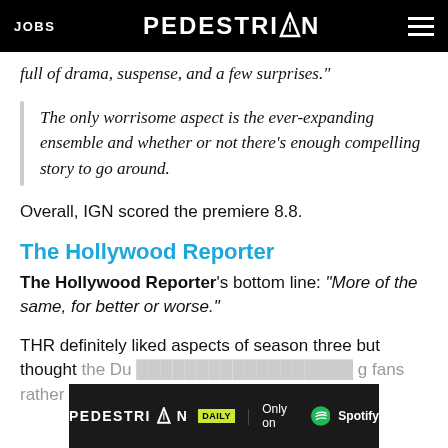JOBS | PEDESTRIAN | [menu]
full of drama, suspense, and a few surprises."
The only worrisome aspect is the ever-expanding ensemble and whether or not there's enough compelling story to go around.
Overall, IGN scored the premiere 8.8.
The Hollywood Reporter
The Hollywood Reporter's bottom line: "More of the same, for better or worse."
THR definitely liked aspects of season three but thought the Du... fans rather...
[Figure (advertisement): PEDESTRIAN DAILY – Only on Spotify advertisement banner]